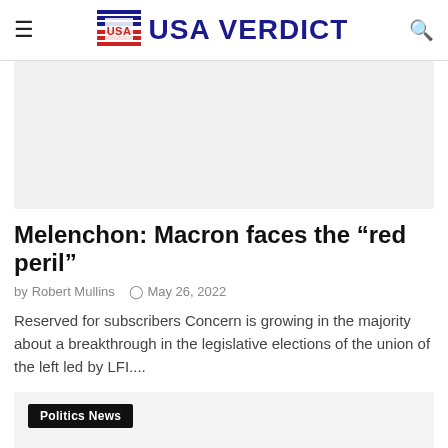USA VERDICT
[Figure (photo): Article featured image placeholder, light gray background]
Melenchon: Macron faces the “red peril”
by Robert Mullins   May 26, 2022
Reserved for subscribers Concern is growing in the majority about a breakthrough in the legislative elections of the union of the left led by LFI....
[Figure (screenshot): Second article card with Politics News tag, light gray background]